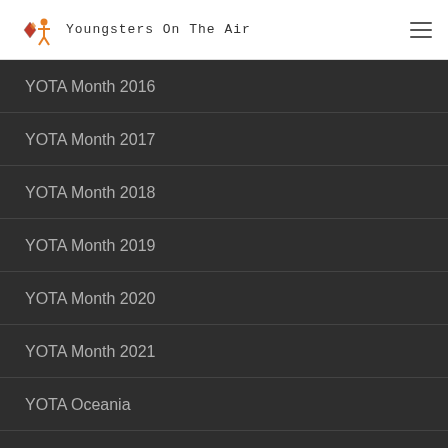Youngsters On The Air
YOTA Month 2016
YOTA Month 2017
YOTA Month 2018
YOTA Month 2019
YOTA Month 2020
YOTA Month 2021
YOTA Oceania
YOTA online
YOTA Region 2